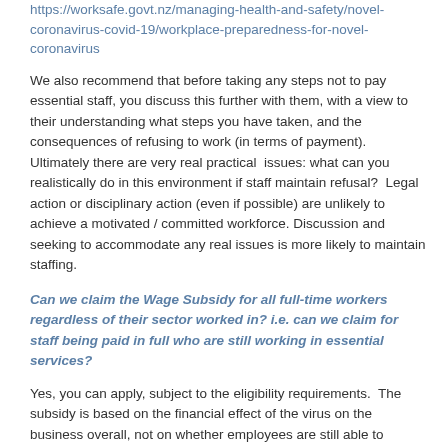https://worksafe.govt.nz/managing-health-and-safety/novel-coronavirus-covid-19/workplace-preparedness-for-novel-coronavirus
We also recommend that before taking any steps not to pay essential staff, you discuss this further with them, with a view to their understanding what steps you have taken, and the consequences of refusing to work (in terms of payment).   Ultimately there are very real practical  issues: what can you realistically do in this environment if staff maintain refusal?  Legal action or disciplinary action (even if possible) are unlikely to achieve a motivated / committed workforce.  Discussion and seeking to accommodate any real issues is more likely to maintain staffing.
Can we claim the Wage Subsidy for all full-time workers regardless of their sector worked in? i.e. can we claim for staff being paid in full who are still working in essential services?
Yes, you can apply, subject to the eligibility requirements.  The subsidy is based on the financial effect of the virus on the business overall, not on whether employees are still able to